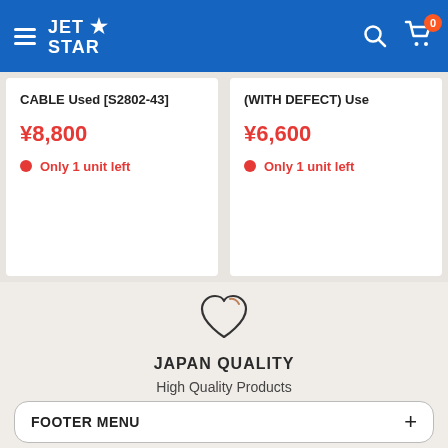JET STAR — navigation header with hamburger menu, search, and cart (0 items)
CABLE Used [S2802-43]
¥8,800
Only 1 unit left
(WITH DEFECT) Use...
¥6,600
Only 1 unit left
[Figure (illustration): Heart icon outline with small highlight arc at top right]
JAPAN QUALITY
High Quality Products
FOOTER MENU